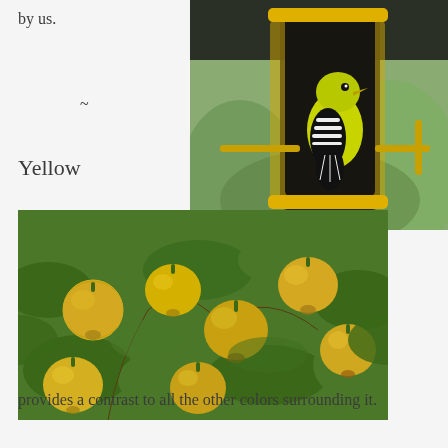by us.
~
Yellow
[Figure (photo): A yellow and black bird (American Goldfinch) clinging to a yellow bird feeder filled with seeds, with a blurred green garden background.]
[Figure (photo): A tree branch laden with yellow-orange apples surrounded by green leaves in sunlight.]
provides a contrast to all the other colors surrounding it.